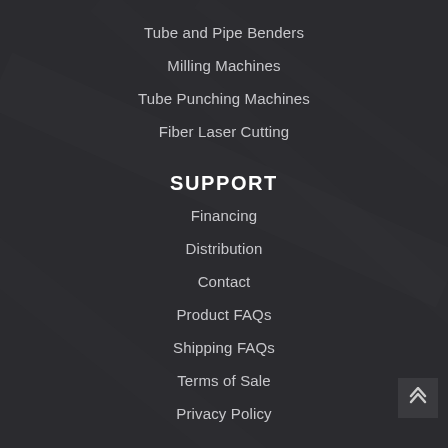Tube and Pipe Benders
Milling Machines
Tube Punching Machines
Fiber Laser Cutting
SUPPORT
Financing
Distribution
Contact
Product FAQs
Shipping FAQs
Terms of Sale
Privacy Policy